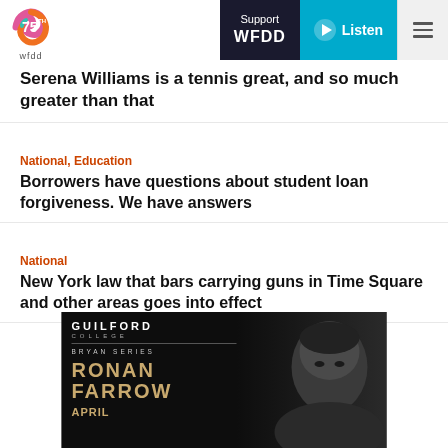WFDD 75th — Support WFDD | Listen
Serena Williams is a tennis great, and so much greater than that
National, Education
Borrowers have questions about student loan forgiveness. We have answers
National
New York law that bars carrying guns in Time Square and other areas goes into effect
[Figure (photo): Advertisement for Guilford College Bryan Series featuring Ronan Farrow, April, with a black and white photo of a man on dark background]